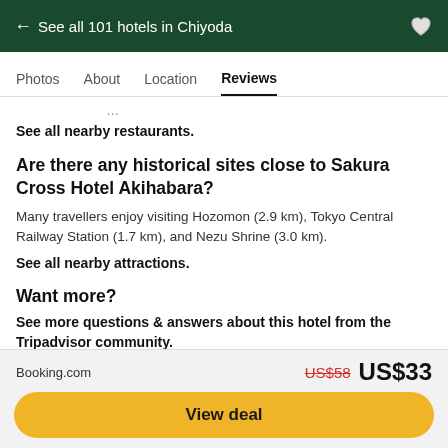← See all 101 hotels in Chiyoda
Photos  About  Location  Reviews
See all nearby restaurants.
Are there any historical sites close to Sakura Cross Hotel Akihabara?
Many travellers enjoy visiting Hozomon (2.9 km), Tokyo Central Railway Station (1.7 km), and Nezu Shrine (3.0 km).
See all nearby attractions.
Want more?
See more questions & answers about this hotel from the Tripadvisor community.
Booking.com  US$58  US$33  View deal